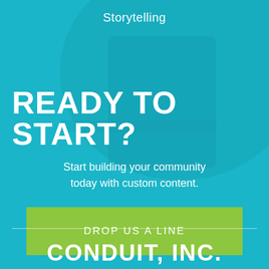[Figure (illustration): Teal/cyan background with subtle dark overlay suggesting a person at a desk]
Storytelling
READY TO START?
Start building your community today with custom content.
DROP US A LINE
[Figure (logo): CONDUIT, INC. logo in white bold uppercase text on teal background]